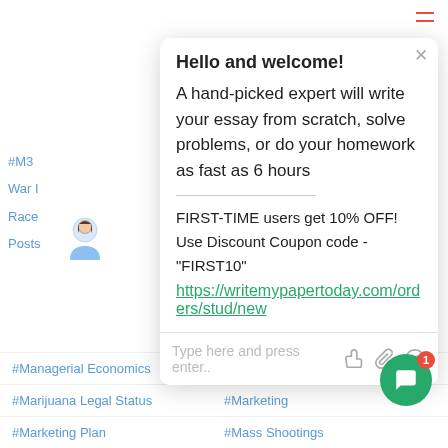#M3
War I
Race
Posts
#M9
#Mac
#Mak
Decis
Hello and welcome!
A hand-picked expert will write your essay from scratch, solve problems, or do your homework as fast as 6 hours
FIRST-TIME users get 10% OFF!
Use Discount Coupon code - "FIRST10"
https://writemypapertoday.com/orders/stud/new
Type here and press enter..
#Managerial Economics
#Marbury V. Madison
#Marijuana Legal Status
#Marketing
#Marketing Plan
#Mass Shootings